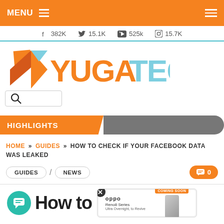MENU ≡  ≡
382K  15.1K  525k  15.7K
[Figure (logo): YugaTech logo with orange and light blue colors]
HIGHLIGHTS
HOME » GUIDES » HOW TO CHECK IF YOUR FACEBOOK DATA WAS LEAKED
GUIDES
NEWS
0
How to